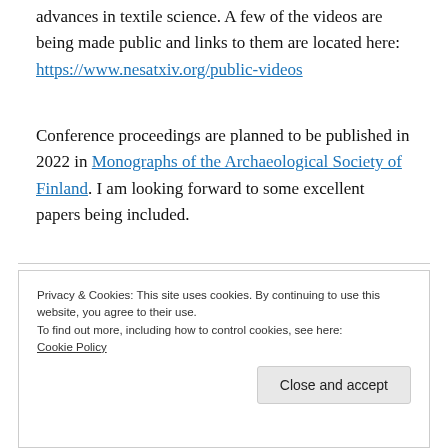advances in textile science. A few of the videos are being made public and links to them are located here: https://www.nesatxiv.org/public-videos
Conference proceedings are planned to be published in 2022 in Monographs of the Archaeological Society of Finland. I am looking forward to some excellent papers being included.
Privacy & Cookies: This site uses cookies. By continuing to use this website, you agree to their use.
To find out more, including how to control cookies, see here: Cookie Policy